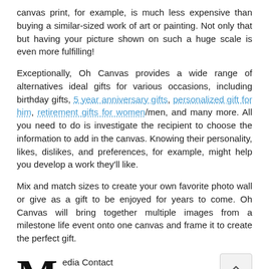canvas print, for example, is much less expensive than buying a similar-sized work of art or painting. Not only that but having your picture shown on such a huge scale is even more fulfilling!
Exceptionally, Oh Canvas provides a wide range of alternatives ideal gifts for various occasions, including birthday gifts, 5 year anniversary gifts, personalized gift for him, retirement gifts for women/men, and many more. All you need to do is investigate the recipient to choose the information to add in the canvas. Knowing their personality, likes, dislikes, and preferences, for example, might help you develop a work they'll like.
Mix and match sizes to create your own favorite photo wall or give as a gift to be enjoyed for years to come. Oh Canvas will bring together multiple images from a milestone life event onto one canvas and frame it to create the perfect gift.
Media Contact
Company Name: Oh Canvas